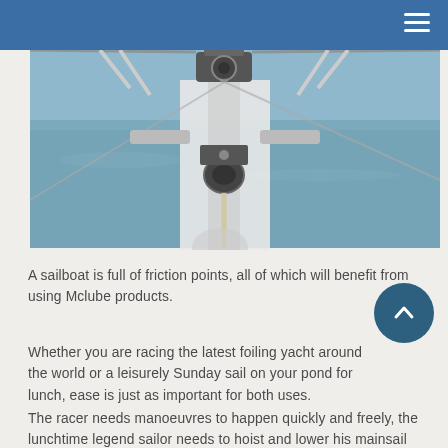≡
[Figure (photo): Close-up photograph of sailboat rigging hardware — stainless steel mast fitting, rope clutches, and deck hardware viewed from deck level looking forward, with water visible in background]
A sailboat is full of friction points, all of which will benefit from using Mclube products.
Whether you are racing the latest foiling yacht around the world or a leisurely Sunday sail on your pond for lunch, ease is just as important for both uses.
The racer needs manoeuvres to happen quickly and freely, the lunchtime legend sailor needs to hoist and lower his mainsail